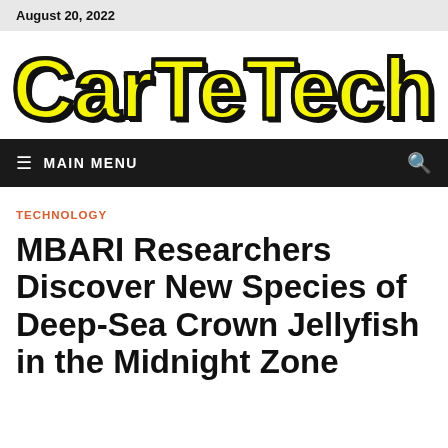August 20, 2022
[Figure (logo): CarTeTech logo in large yellow bold text with black outline]
≡ MAIN MENU
TECHNOLOGY
MBARI Researchers Discover New Species of Deep-Sea Crown Jellyfish in the Midnight Zone